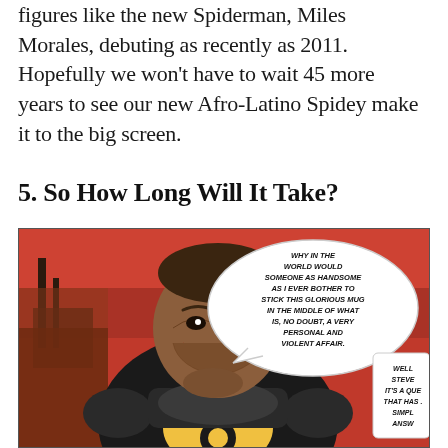figures like the new Spiderman, Miles Morales, debuting as recently as 2011. Hopefully we won't have to wait 45 more years to see our new Afro-Latino Spidey make it to the big screen.
5. So How Long Will It Take?
[Figure (illustration): Comic book panel showing a smiling man in a black and yellow armored suit with speech bubbles reading 'WHY IN THE WORLD WOULD SOMEONE AS HANDSOME AS I EVER BOTHER TO STICK THIS GLORIOUS MUG IN THE MIDDLE OF WHAT IS, NO DOUBT, A VERY PERSONAL AND VIOLENT AFFAIR.' and a partial response 'WELL STEVE IT'S A QUE THAT HAS . SIMPL ANSW']